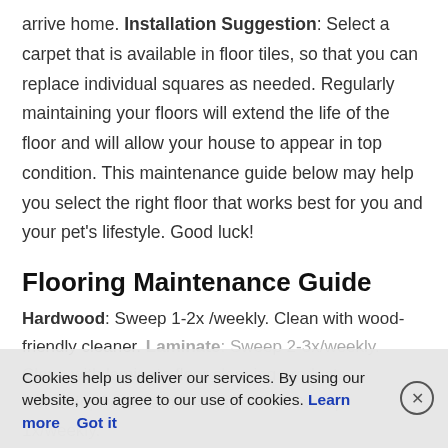arrive home. Installation Suggestion: Select a carpet that is available in floor tiles, so that you can replace individual squares as needed. Regularly maintaining your floors will extend the life of the floor and will allow your house to appear in top condition. This maintenance guide below may help you select the right floor that works best for you and your pet's lifestyle. Good luck!
Flooring Maintenance Guide
Hardwood: Sweep 1-2x /weekly. Clean with wood-friendly cleaner. Laminate: Sweep 2-3x/weekly. Clean with laminate floor cleaning products. Ceramic, Porcelain & Stone tiles: Sweep 1x/weekly. Mop with tile friendly cleaners. Bamboo: Sweep...
Cookies help us deliver our services. By using our website, you agree to our use of cookies. Learn more  Got it